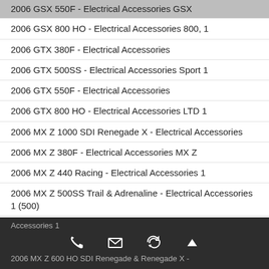2006 GSX 550F - Electrical Accessories GSX
2006 GSX 800 HO - Electrical Accessories 800, 1
2006 GTX 380F - Electrical Accessories
2006 GTX 500SS - Electrical Accessories Sport 1
2006 GTX 550F - Electrical Accessories
2006 GTX 800 HO - Electrical Accessories LTD 1
2006 MX Z 1000 SDI Renegade X - Electrical Accessories
2006 MX Z 380F - Electrical Accessories MX Z
2006 MX Z 440 Racing - Electrical Accessories 1
2006 MX Z 500SS Trail & Adrenaline - Electrical Accessories 1 (500)
2006 MX Z 550F - Electrical Accessories MX Z
2006 MX Z 550X - Electrical Accessories MX Z
2006 MX Z 600 HO Adrenaline - Electrical Accessories 1 (600)
2006 MX Z 600 HO SDI Adrenaline & X - Electrical Accessories 1
2006 MX Z 600 HO SDI Renegade & Renegade X -